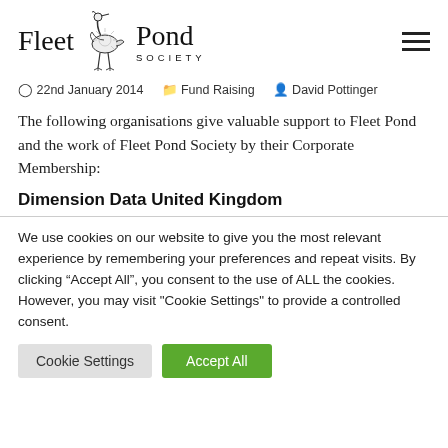Fleet Pond Society
22nd January 2014  Fund Raising  David Pottinger
The following organisations give valuable support to Fleet Pond and the work of Fleet Pond Society by their Corporate Membership:
Dimension Data United Kingdom
We use cookies on our website to give you the most relevant experience by remembering your preferences and repeat visits. By clicking “Accept All”, you consent to the use of ALL the cookies. However, you may visit "Cookie Settings" to provide a controlled consent.